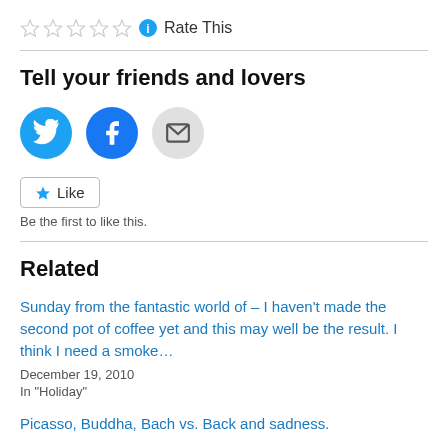[Figure (infographic): Five empty star rating icons followed by a blue info circle icon and the text 'Rate This']
Tell your friends and lovers
[Figure (infographic): Three social sharing icons: Twitter (blue bird), Facebook (blue f), and Email (grey envelope)]
[Figure (infographic): Like button with blue star icon and text 'Like']
Be the first to like this.
Related
Sunday from the fantastic world of – I haven't made the second pot of coffee yet and this may well be the result. I think I need a smoke…
December 19, 2010
In "Holiday"
Picasso, Buddha, Bach vs. Back and sadness.